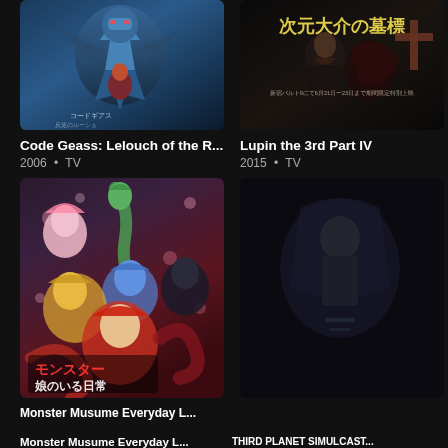[Figure (illustration): Anime cover for Code Geass: Lelouch of the R... showing mech/robot in blue tones]
Code Geass: Lelouch of the R...
2006 • TV
[Figure (illustration): Anime cover for Lupin the 3rd Part IV with Japanese text and dark tones]
Lupin the 3rd Part IV
2015 • TV
[Figure (illustration): Anime cover showing multiple female monster girl characters with Japanese text モンスター娘のいる日常]
Monster Musume Everyday L...
[Figure (illustration): Partially visible anime cover bottom right]
THIRD PLANET SIMULCAST